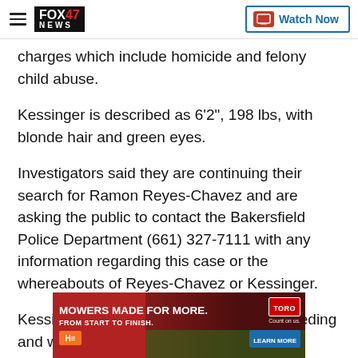FOX 47 NEWS | Watch Now
charges which include homicide and felony child abuse.
Kessinger is described as 6'2", 198 lbs, with blonde hair and green eyes.
Investigators said they are continuing their search for Ramon Reyes-Chavez and are asking the public to contact the Bakersfield Police Department (661) 327-7111 with any information regarding this case or the whereabouts of Reyes-Chavez or Kessinger.
Kessinger was pulled over in 2016 for speeding and was s... had 6.4 na...
[Figure (photo): Advertisement banner: MOWERS MADE FOR MORE. FROM START TO FINISH. Toro brand ad with image of lawn mower on grass.]